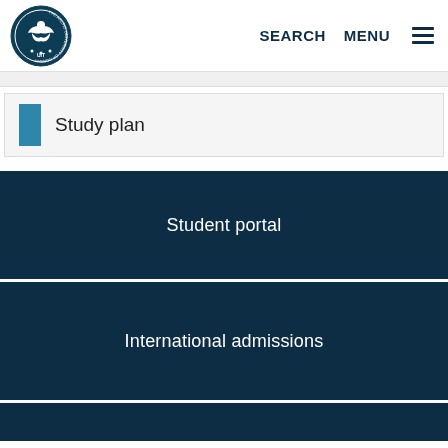SEARCH  MENU
Study plan
Student portal
International admissions